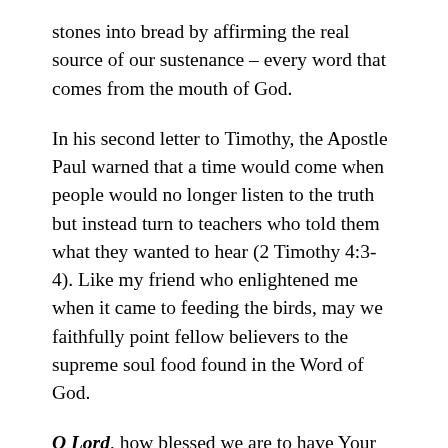stones into bread by affirming the real source of our sustenance – every word that comes from the mouth of God.
In his second letter to Timothy, the Apostle Paul warned that a time would come when people would no longer listen to the truth but instead turn to teachers who told them what they wanted to hear (2 Timothy 4:3-4). Like my friend who enlightened me when it came to feeding the birds, may we faithfully point fellow believers to the supreme soul food found in the Word of God.
O Lord, how blessed we are to have Your Word to guide and sustain us! Thank You for providing many ways for us to receive spiritual nourishment. Please help us to make Your Word the benchmark against which we